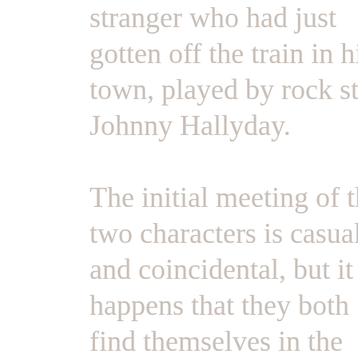stranger who had just gotten off the train in his town, played by rock star Johnny Hallyday.

The initial meeting of the two characters is casual and coincidental, but it so happens that they both find themselves in the waiting room of great events in their lives. Montesquieu and Milan are as different as could be. One has a definite air of danger around him and the other is a sociable, talkative inhabitant of a quiet monotonous little town. Even the music that marks Milan's early appearances is reminiscent of Ennio Morricone's spaghetti western scores that accompanied lonesome wandering heroes. In some ways, Milan resembles Clint Eastwood's character in Unforgiven, if only in those